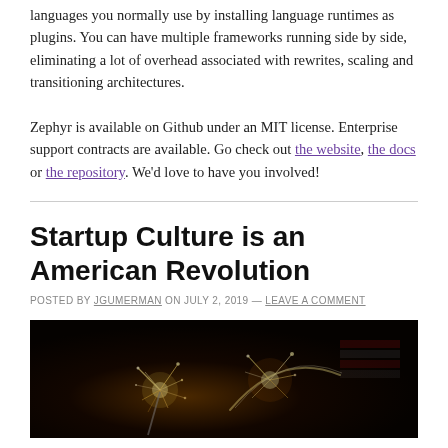languages you normally use by installing language runtimes as plugins. You can have multiple frameworks running side by side, eliminating a lot of overhead associated with rewrites, scaling and transitioning architectures.
Zephyr is available on Github under an MIT license. Enterprise support contracts are available. Go check out the website, the docs or the repository. We'd love to have you involved!
Startup Culture is an American Revolution
POSTED BY JGUMERMAN ON JULY 2, 2019 — LEAVE A COMMENT
[Figure (photo): Dark photo showing sparklers and fireworks with light trails against a black background, patriotic theme with American flag visible]